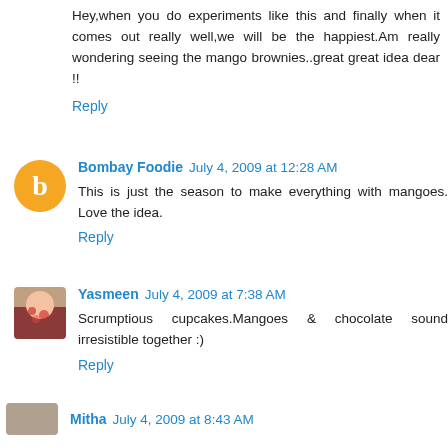Hey,when you do experiments like this and finally when it comes out really well,we will be the happiest.Am really wondering seeing the mango brownies..great great idea dear !!
Reply
Bombay Foodie July 4, 2009 at 12:28 AM
This is just the season to make everything with mangoes. Love the idea.
Reply
Yasmeen July 4, 2009 at 7:38 AM
Scrumptious cupcakes.Mangoes & chocolate sound irresistible together :)
Reply
Mitha July 4, 2009 at 8:43 AM